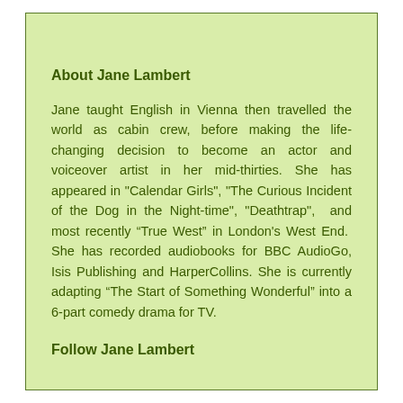About Jane Lambert
Jane taught English in Vienna then travelled the world as cabin crew, before making the life-changing decision to become an actor and voiceover artist in her mid-thirties. She has appeared in "Calendar Girls", "The Curious Incident of the Dog in the Night-time", "Deathtrap",  and most recently “True West” in London's West End.  She has recorded audiobooks for BBC AudioGo, Isis Publishing and HarperCollins. She is currently adapting “The Start of Something Wonderful” into a 6-part comedy drama for TV.
Follow Jane Lambert